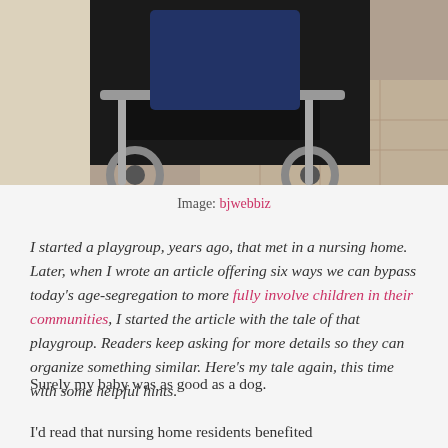[Figure (photo): A person in a wheelchair, viewed from below/mid-level, outdoors on a tiled path. The wheelchair's metal frame and wheels are visible.]
Image: bjwebbiz
I started a playgroup, years ago, that met in a nursing home. Later, when I wrote an article offering six ways we can bypass today's age-segregation to more fully involve children in their communities, I started the article with the tale of that playgroup. Readers keep asking for more details so they can organize something similar. Here's my tale again, this time with some helpful hints.
Surely my baby was as good as a dog.
I'd read that nursing home residents benefited